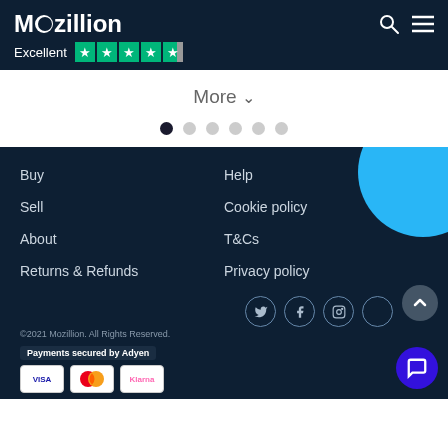Mozillion — Excellent ★★★★½
More ∨
Carousel pagination dots (1 of 6 active)
Buy
Sell
About
Returns & Refunds
Help
Cookie policy
T&Cs
Privacy policy
©2021 Mozillion. All Rights Reserved.
Payments secured by Adyen
[Figure (logo): Payment method logos: Visa, Mastercard, Klarna]